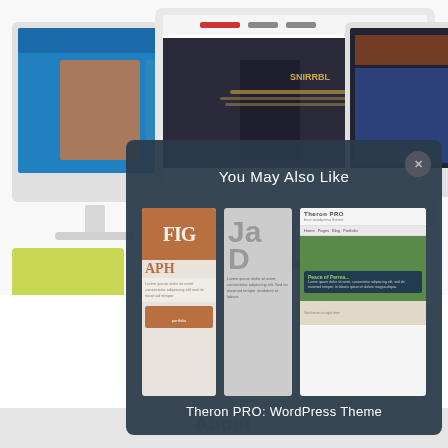[Figure (screenshot): Three iMac monitors displaying website/theme screenshots in the background, showing a movie/entertainment website theme]
[Figure (screenshot): Modal dialog with dark blue-gray background showing 'You May Also Like' heading, three theme thumbnail previews (a photography theme, a portfolio theme, and Theron PRO WordPress theme), and text 'Theron PRO: WordPress Theme' at bottom. A close X button is in the upper right corner.]
You May Also Like
Theron PRO: WordPress Theme
About